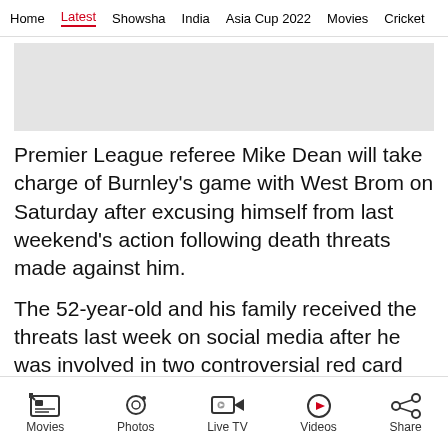Home | Latest | Showsha | India | Asia Cup 2022 | Movies | Cricket
[Figure (other): Gray advertisement placeholder banner]
Premier League referee Mike Dean will take charge of Burnley's game with West Brom on Saturday after excusing himself from last weekend's action following death threats made against him.
The 52-year-old and his family received the threats last week on social media after he was involved in two controversial red card incidents
Movies | Photos | Live TV | Videos | Share